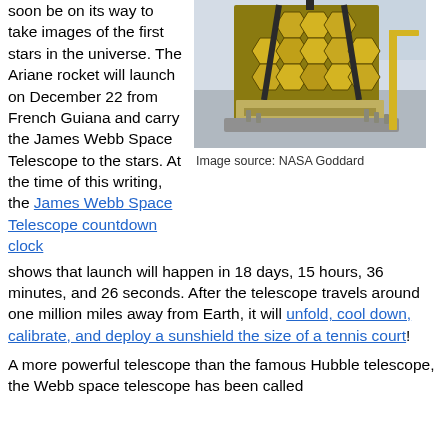soon be on its way to take images of the first stars in the universe. The Ariane rocket will launch on December 22 from French Guiana and carry the James Webb Space Telescope to the stars. At the time of this writing, the James Webb Space Telescope countdown clock shows that launch will happen in 18 days, 15 hours, 36 minutes, and 26 seconds. After the telescope travels around one million miles away from Earth, it will unfold, cool down, calibrate, and deploy a sunshield the size of a tennis court!
[Figure (photo): Photo of the James Webb Space Telescope being assembled in a large facility. The telescope's gold hexagonal mirror segments are visible, with workers in clean suits standing nearby.]
Image source: NASA Goddard
A more powerful telescope than the famous Hubble telescope, the Webb space telescope has been called